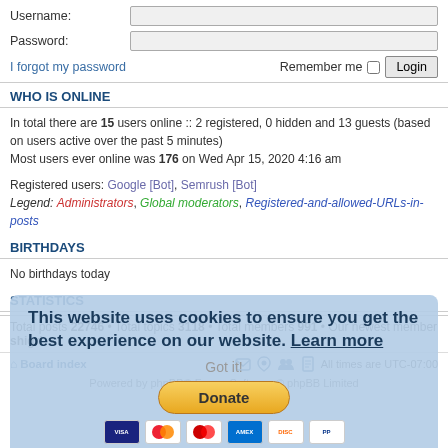Username:
Password:
I forgot my password    Remember me  Login
WHO IS ONLINE
In total there are 15 users online :: 2 registered, 0 hidden and 13 guests (based on users active over the past 5 minutes)
Most users ever online was 176 on Wed Apr 15, 2020 4:16 am
Registered users: Google [Bot], Semrush [Bot]
Legend: Administrators, Global moderators, Registered-and-allowed-URLs-in-posts
BIRTHDAYS
No birthdays today
STATISTICS
Total posts 22746 • Total topics 3118 • Total members 991 • Our newest member shigri
Board index   All times are UTC-07:00
Powered by phpBB® Forum Software © phpBB Limited
Privacy | Terms
This website uses cookies to ensure you get the best experience on our website. Learn more
Got it!
Donate